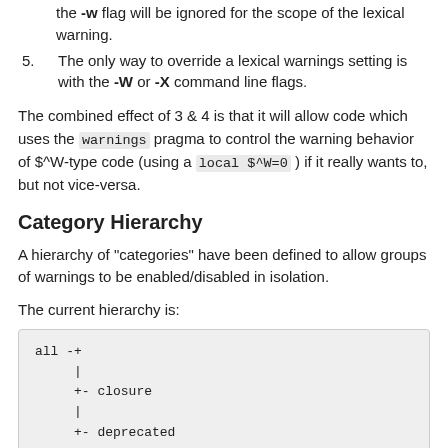the -w flag will be ignored for the scope of the lexical warning.
5. The only way to override a lexical warnings setting is with the -W or -X command line flags.
The combined effect of 3 & 4 is that it will allow code which uses the warnings pragma to control the warning behavior of $^W-type code (using a local $^W=0 ) if it really wants to, but not vice-versa.
Category Hierarchy
A hierarchy of "categories" have been defined to allow groups of warnings to be enabled/disabled in isolation.
The current hierarchy is:
all -+
     |
     +- closure
     |
     +- deprecated